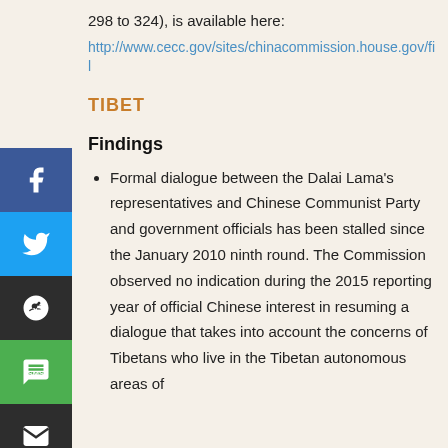298 to 324), is available here:
http://www.cecc.gov/sites/chinacommission.house.gov/fil
TIBET
Findings
Formal dialogue between the Dalai Lama's representatives and Chinese Communist Party and government officials has been stalled since the January 2010 ninth round. The Commission observed no indication during the 2015 reporting year of official Chinese interest in resuming a dialogue that takes into account the concerns of Tibetans who live in the Tibetan autonomous areas of